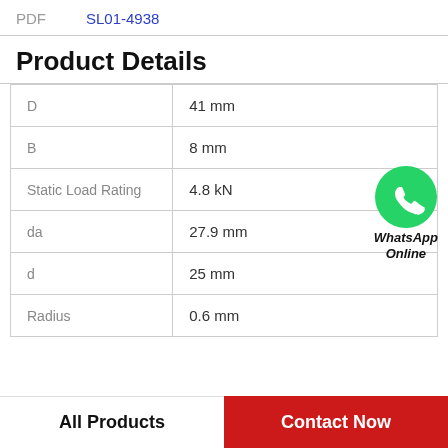PDF   SL01-4938
Product Details
| Parameter | Value |
| --- | --- |
| D | 41 mm |
| B | 8 mm |
| Static Load Rating | 4.8 kN |
| da | 27.9 mm |
| d | 25 mm |
| Radius | 0.6 mm |
[Figure (logo): WhatsApp Online badge with green phone icon]
All Products   Contact Now